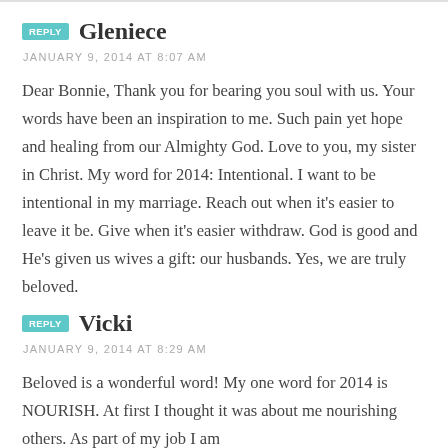Gleniece
JANUARY 9, 2014 AT 8:07 AM
Dear Bonnie, Thank you for bearing you soul with us. Your words have been an inspiration to me. Such pain yet hope and healing from our Almighty God. Love to you, my sister in Christ. My word for 2014: Intentional. I want to be intentional in my marriage. Reach out when it's easier to leave it be. Give when it's easier withdraw. God is good and He's given us wives a gift: our husbands. Yes, we are truly beloved.
Vicki
JANUARY 9, 2014 AT 8:29 AM
Beloved is a wonderful word! My one word for 2014 is NOURISH. At first I thought it was about me nourishing others. As part of my job I am